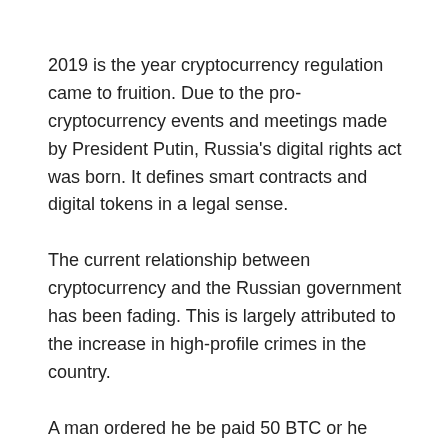2019 is the year cryptocurrency regulation came to fruition. Due to the pro-cryptocurrency events and meetings made by President Putin, Russia's digital rights act was born. It defines smart contracts and digital tokens in a legal sense.
The current relationship between cryptocurrency and the Russian government has been fading. This is largely attributed to the increase in high-profile crimes in the country.
A man ordered he be paid 50 BTC or he would blow up several train stations across the country with set explosives. The Police in St. Petersburg reportedly got his anonymous letter on November 4 2019.